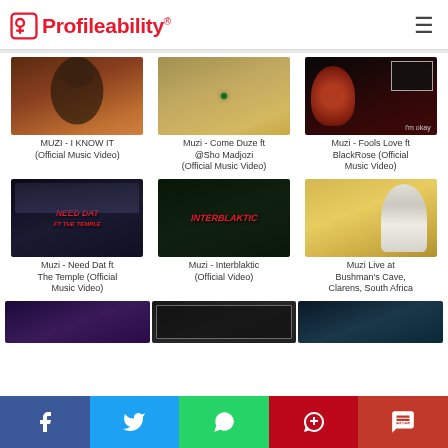Profileability
[Figure (screenshot): Thumbnail for MUZI - I KNOW IT (Official Music Video)]
MUZI - I KNOW IT (Official Music Video)
[Figure (screenshot): Thumbnail for Muzi - Come Duze ft @Sho Madjozi (Official Music Video)]
Muzi - Come Duze ft @Sho Madjozi (Official Music Video)
[Figure (screenshot): Thumbnail for Muzi - Fools Love ft BlackRose (Official Music Video)]
Muzi - Fools Love ft BlackRose (Official Music Video)
[Figure (screenshot): Thumbnail for Muzi - Need Dat ft The Temple (Official Music Video)]
Muzi - Need Dat ft The Temple (Official Music Video)
[Figure (screenshot): Thumbnail for Muzi - Interblaktic (Official Video)]
Muzi - Interblaktic (Official Video)
[Figure (screenshot): Thumbnail for Muzi Live at Bushman's Cave, Clarens, South Africa]
Muzi Live at Bushman's Cave, Clarens, South Africa
[Figure (screenshot): Partial thumbnails for three more videos at bottom]
Social share bar: Facebook, Twitter, WhatsApp, Pinterest, SMS